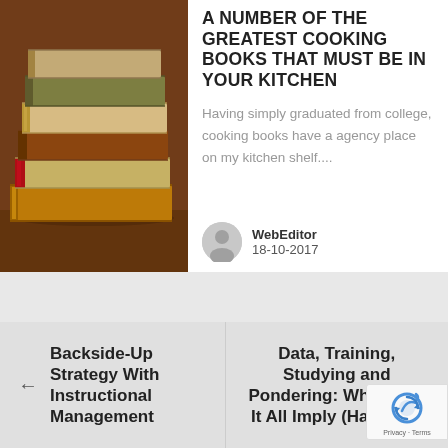[Figure (photo): Stack of hardcover books with colorful spines on a wooden surface]
A NUMBER OF THE GREATEST COOKING BOOKS THAT MUST BE IN YOUR KITCHEN
Having simply graduated from college, cooking books have a agency place on my kitchen shelf....
WebEditor
18-10-2017
← Backside-Up Strategy With Instructional Management
Data, Training, Studying and Pondering: What Does It All Imply (Half One)